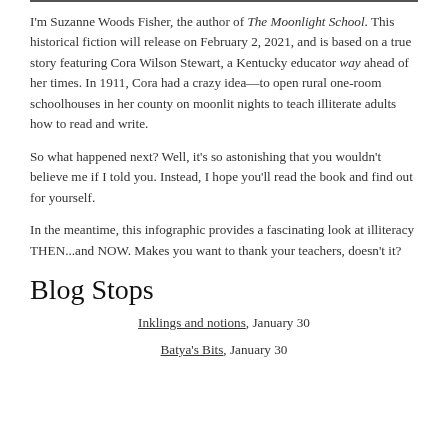I'm Suzanne Woods Fisher, the author of The Moonlight School. This historical fiction will release on February 2, 2021, and is based on a true story featuring Cora Wilson Stewart, a Kentucky educator way ahead of her times. In 1911, Cora had a crazy idea—to open rural one-room schoolhouses in her county on moonlit nights to teach illiterate adults how to read and write.
So what happened next? Well, it's so astonishing that you wouldn't believe me if I told you. Instead, I hope you'll read the book and find out for yourself.
In the meantime, this infographic provides a fascinating look at illiteracy THEN...and NOW. Makes you want to thank your teachers, doesn't it?
Blog Stops
Inklings and notions, January 30
Batya's Bits, January 30